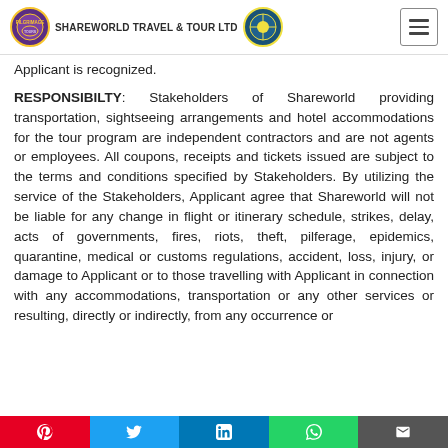SHAREWORLD TRAVEL & TOUR LTD
Applicant is recognized.
RESPONSIBILTY: Stakeholders of Shareworld providing transportation, sightseeing arrangements and hotel accommodations for the tour program are independent contractors and are not agents or employees. All coupons, receipts and tickets issued are subject to the terms and conditions specified by Stakeholders. By utilizing the service of the Stakeholders, Applicant agree that Shareworld will not be liable for any change in flight or itinerary schedule, strikes, delay, acts of governments, fires, riots, theft, pilferage, epidemics, quarantine, medical or customs regulations, accident, loss, injury, or damage to Applicant or to those travelling with Applicant in connection with any accommodations, transportation or any other services or resulting, directly or indirectly, from any occurrence or
Pinterest | Twitter | LinkedIn | WhatsApp | Email